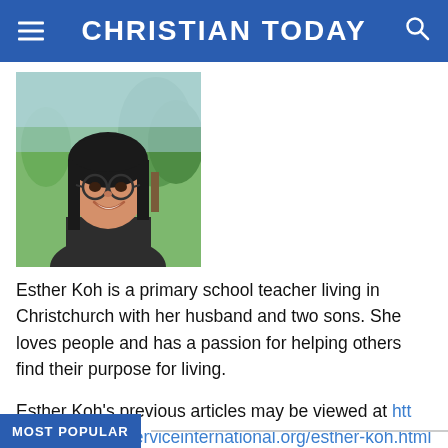CHRISTIAN TODAY
[Figure (photo): Headshot photo of Esther Koh, a young Asian woman with long dark hair and round glasses, smiling outdoors with trees in background]
Esther Koh is a primary school teacher living in Christchurch with her husband and two sons. She loves people and has a passion for helping others find their purpose for living.
Esther Koh’s previous articles may be viewed at http://www.pressserviceinternational.org/esther-koh.html
MOST POPULAR